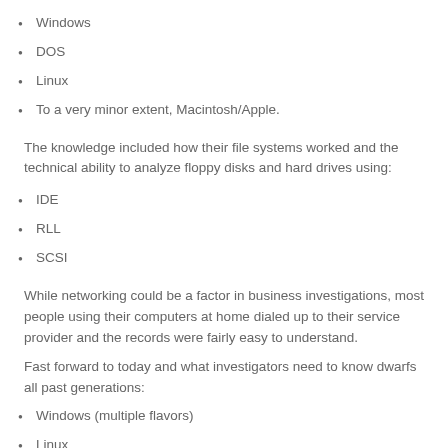Windows
DOS
Linux
To a very minor extent, Macintosh/Apple.
The knowledge included how their file systems worked and the technical ability to analyze floppy disks and hard drives using:
IDE
RLL
SCSI
While networking could be a factor in business investigations, most people using their computers at home dialed up to their service provider and the records were fairly easy to understand.
Fast forward to today and what investigators need to know dwarfs all past generations:
Windows (multiple flavors)
Linux